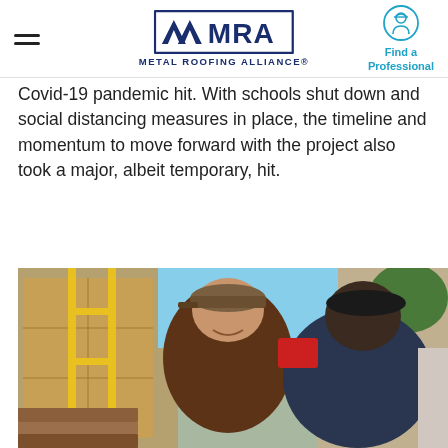MRA Metal Roofing Alliance — Find a Professional
Covid-19 pandemic hit. With schools shut down and social distancing measures in place, the timeline and momentum to move forward with the project also took a major, albeit temporary, hit.
[Figure (photo): Three men at a construction site with scaffolding and lumber in the background. The man in the center is wearing a brown t-shirt and a cap, smiling. Another man in a dark polo shirt faces away. A third man is partially visible on the right.]